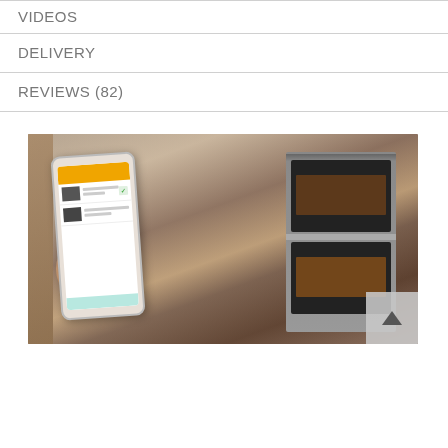VIDEOS
DELIVERY
REVIEWS (82)
[Figure (photo): A person holding a smartphone displaying a product app, with a stainless steel double wall oven visible in the background in a modern kitchen.]